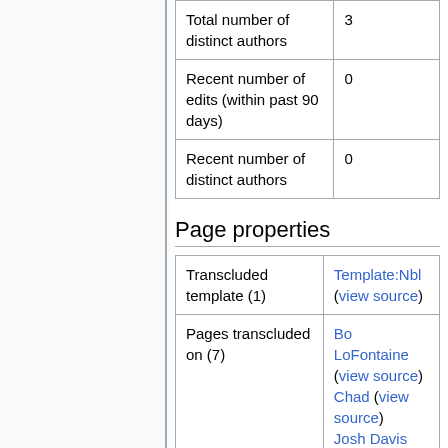| Total number of distinct authors | 3 |
| Recent number of edits (within past 90 days) | 0 |
| Recent number of distinct authors | 0 |
Page properties
| Transcluded template (1) | Template:Nbl (view source) |
| Pages transcluded on (7) | Bo LoFontaine (view source)
Chad (view source)
Josh Davis (view source) |